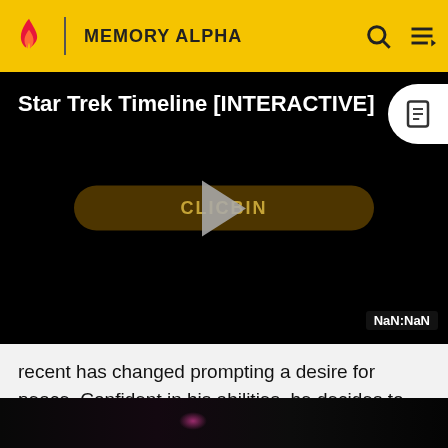MEMORY ALPHA
[Figure (screenshot): Video player with black background showing 'Star Trek Timeline [INTERACTIVE]' title text in white, a play button overlay with 'CLICK TO BEGIN' button in dark gold/brown rounded rectangle, a document icon circle in top right, and 'NaN:NaN' time display in bottom right corner]
recent has changed prompting a desire for peace. Confident in his abilities, he decides to leave the meeting early and prepare for his dinner.
[Figure (photo): Dark scene from Star Trek with a faint pinkish-purple glow visible, very dark overall lighting]